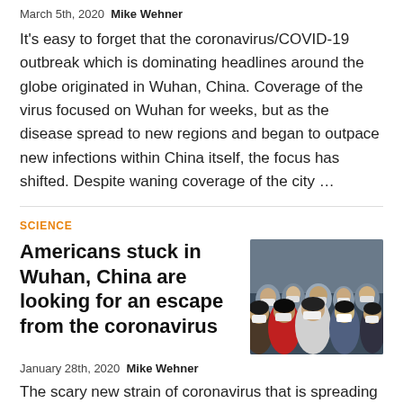March 5th, 2020 Mike Wehner
It’s easy to forget that the coronavirus/COVID-19 outbreak which is dominating headlines around the globe originated in Wuhan, China. Coverage of the virus focused on Wuhan for weeks, but as the disease spread to new regions and began to outpace new infections within China itself, the focus has shifted. Despite waning coverage of the city …
SCIENCE
Americans stuck in Wuhan, China are looking for an escape from the coronavirus
[Figure (photo): Group of people wearing face masks in Wuhan, China]
January 28th, 2020 Mike Wehner
The scary new strain of coronavirus that is spreading